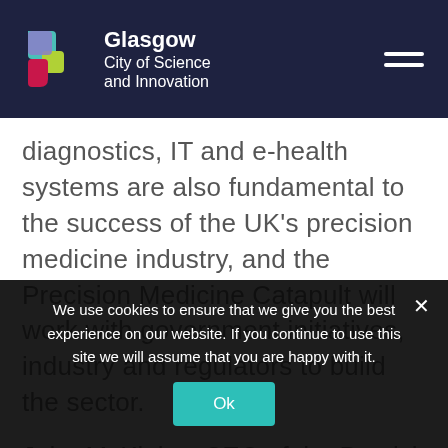[Figure (logo): Glasgow City of Science and Innovation logo with colorful geometric puzzle-piece shapes and white text on dark navy header bar]
diagnostics, IT and e-health systems are also fundamental to the success of the UK's precision medicine industry, and the Precision Medicine Catapult will work with government initiatives, industry and regulators to build the sector.
John McKinley, CEO of the Precision Medicine
We use cookies to ensure that we give you the best experience on our website. If you continue to use this site we will assume that you are happy with it.